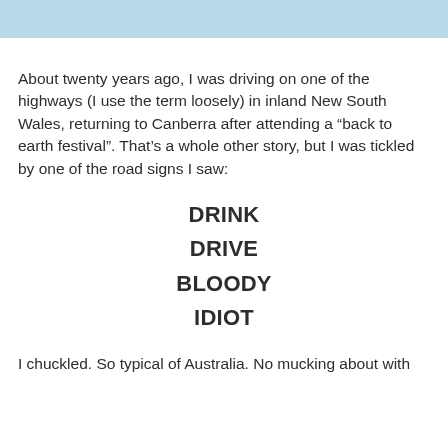[Figure (other): Light blue decorative bar at top of page]
About twenty years ago, I was driving on one of the highways (I use the term loosely) in inland New South Wales, returning to Canberra after attending a “back to earth festival”. That’s a whole other story, but I was tickled by one of the road signs I saw:
DRINK
DRIVE
BLOODY
IDIOT
I chuckled. So typical of Australia. No mucking about with